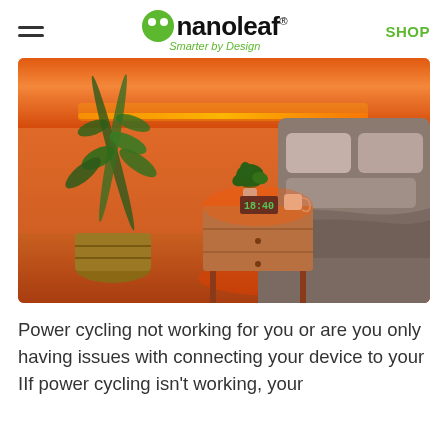nanoleaf — Smarter by Design | SHOP
[Figure (photo): Bedroom scene with warm orange/amber LED light strip running along the top of the wall, illuminating a nightstand with a plant and digital clock showing 18:40, a bed with pillows visible on the right, and a large plant in a wicker basket on the left.]
Power cycling not working for you or are you only having issues with connecting your device to your IIf power cycling isn't working, your